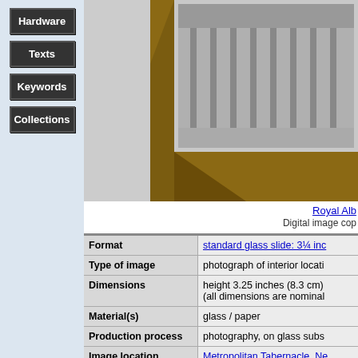Hardware
Texts
Keywords
Collections
[Figure (photo): Partial view of a framed lantern slide showing an interior location, with a brown wooden frame and a black and white photograph of an interior architectural space visible in the upper right corner.]
Royal Alb...
Digital image cop...
|  |  |
| --- | --- |
| Format | standard glass slide: 3¼ inc... |
| Type of image | photograph of interior locati... |
| Dimensions | height 3.25 inches (8.3 cm)...
(all dimensions are nominal... |
| Material(s) | glass / paper |
| Production process | photography, on glass subs... |
| Image location | Metropolitan Tabernacle, Ne... |
| Collections | Example in Royal Albert Me... |